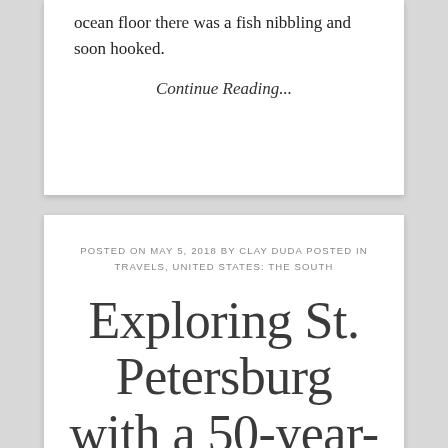hooked tipped with squid made it to the ocean floor there was a fish nibbling and soon hooked.
Continue Reading...
POSTED ON MAY 5, 2018 BY CLAY DUDA POSTED IN TRAVELS, UNITED STATES: THE SOUTH
Exploring St. Petersburg with a 50-year-old-